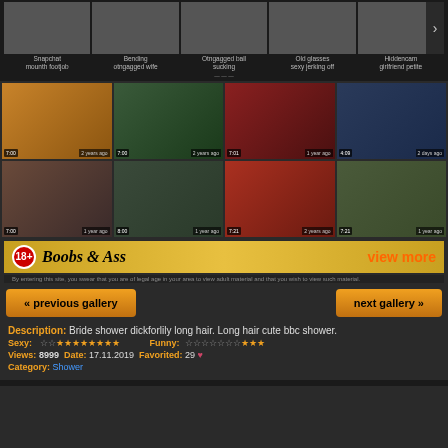[Figure (screenshot): Top row of video thumbnails with labels: Snapchat mounth footjob, Bending otngagged wife, Otngagged ball sucking, Old glasses sexy jerking off, Hiddencam girlfriend petite]
[Figure (screenshot): Grid of 8 adult video thumbnails in 2 rows of 4, with duration badges and time-ago labels]
[Figure (screenshot): Advertisement banner: 18+ Boobs & Ass - view more]
By entering this site, you swear that you are of legal age in your area to view adult material and that you wish to view such material.
« previous gallery
next gallery »
Description: Bride shower dickforlily long hair. Long hair cute bbc shower.
Sexy: ☆☆★★★★★★★★   Funny: ☆☆☆☆☆☆☆★★★
Views: 8999  Date: 17.11.2019  Favorited: 29 ♥
Category: Shower